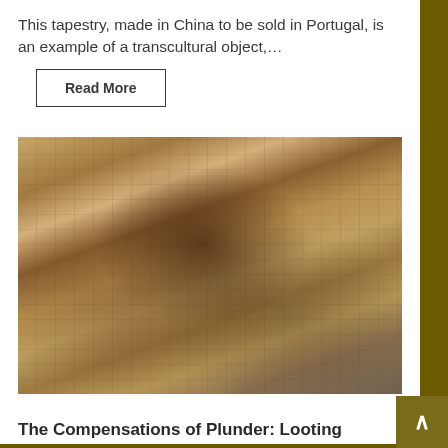This tapestry, made in China to be sold in Portugal, is an example of a transcultural object,...
Read More
[Figure (photo): A photograph of an ornate tapestry with floral and figural motifs in muted warm tones, with a dark shadow or figure visible near the center of the image.]
The Compensations of Plunder: Looting